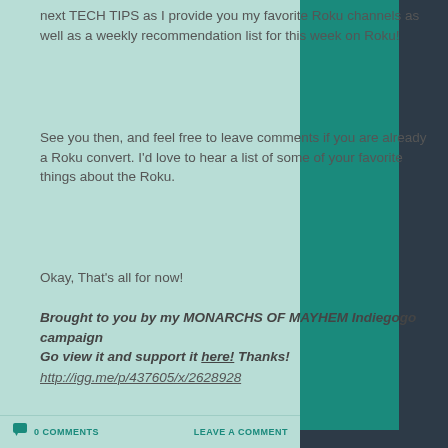next TECH TIPS as I provide you my favorite Roku channels as well as a weekly recommendation list for this week on Roku!
See you then, and feel free to leave comments if you are already a Roku convert. I'd love to hear a list of some of your favorite things about the Roku.
Okay, That's all for now!
Brought to you by my MONARCHS OF MAYHEM Indiegogo campaign
Go view it and support it here! Thanks!
http://igg.me/p/437605/x/2628928
0 COMMENTS   LEAVE A COMMENT